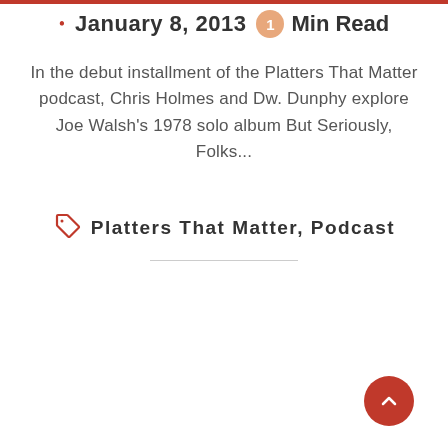January 8, 2013  1 Min Read
In the debut installment of the Platters That Matter podcast, Chris Holmes and Dw. Dunphy explore Joe Walsh's 1978 solo album But Seriously, Folks...
Platters That Matter, Podcast
[Figure (screenshot): Comments widget area showing '30 Comments' and '7' badge in orange, with a large gray box below and a red scroll-to-top button at bottom right]